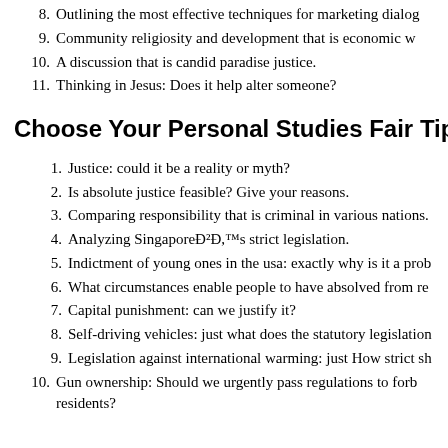8. Outlining the most effective techniques for marketing dialog
9. Community religiosity and development that is economic w
10. A discussion that is candid paradise justice.
11. Thinking in Jesus: Does it help alter someone?
Choose Your Personal Studies Fair Tip in R
1. Justice: could it be a reality or myth?
2. Is absolute justice feasible? Give your reasons.
3. Comparing responsibility that is criminal in various nations.
4. Analyzing SingaporeÐ²Ð,™s strict legislation.
5. Indictment of young ones in the usa: exactly why is it a prob
6. What circumstances enable people to have absolved from re
7. Capital punishment: can we justify it?
8. Self-driving vehicles: just what does the statutory legislation
9. Legislation against international warming: just How strict sh
10. Gun ownership: Should we urgently pass regulations to forb residents?